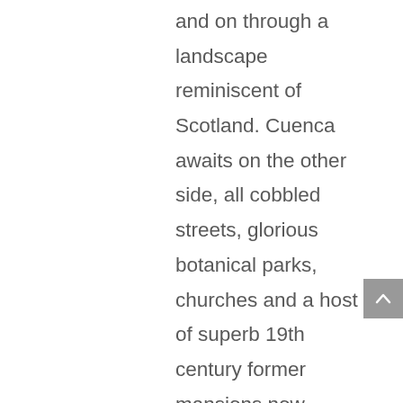and on through a landscape reminiscent of Scotland. Cuenca awaits on the other side, all cobbled streets, glorious botanical parks, churches and a host of superb 19th century former mansions now operating as gorgeous boutique hotels. Here you can trek some of the many picturesque trails in Cajas National Park, visit the home of Panama hat production or simply unwind in this laid back city before you head home to the UK.
All in all it was an experience richer than I could have possibly imagined.